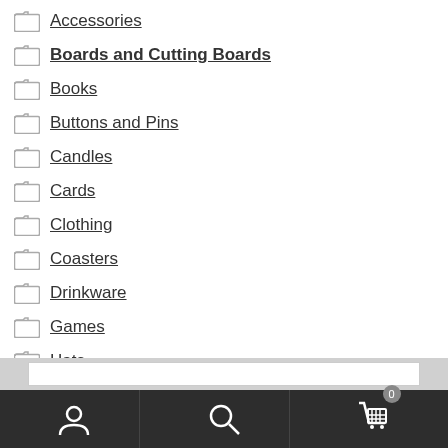Accessories
Boards and Cutting Boards
Books
Buttons and Pins
Candles
Cards
Clothing
Coasters
Drinkware
Games
Hats
Jewelry (partially visible)